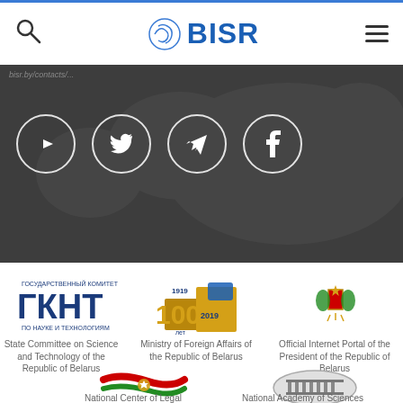BISR - navigation bar with search, logo, and menu
[Figure (screenshot): Dark banner with social media icons (YouTube, Twitter, Telegram, Facebook) in white-bordered circles on a dark map background]
[Figure (logo): ГКНТ - State Committee on Science and Technology logo in blue Cyrillic text]
State Committee on Science and Technology of the Republic of Belarus
[Figure (logo): Ministry of Foreign Affairs of Belarus - 100 year anniversary logo with puzzle pieces and golden number]
Ministry of Foreign Affairs of the Republic of Belarus
[Figure (logo): Official Internet Portal of the President of the Republic of Belarus - coat of arms emblem]
Official Internet Portal of the President of the Republic of Belarus
[Figure (logo): Belarus national flag logo with coat of arms]
National Center of Legal
[Figure (logo): National Academy of Sciences oval emblem]
National Academy of Sciences